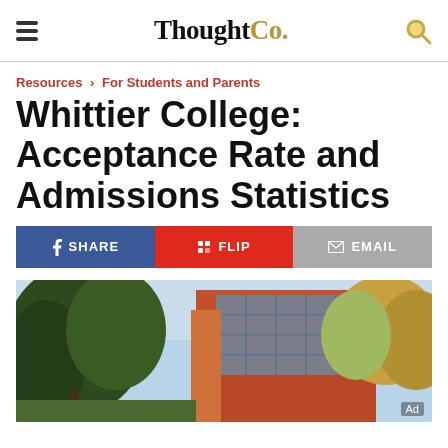ThoughtCo.
Resources > For Students and Parents
Whittier College: Acceptance Rate and Admissions Statistics
SHARE | FLIP | EMAIL
[Figure (photo): Exterior photo of Whittier College building with red/orange facade and trees in foreground]